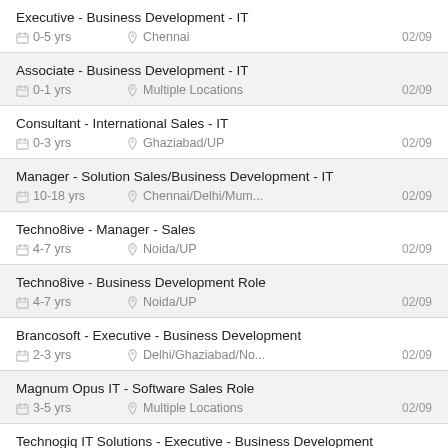Executive - Business Development - IT | 0-5 yrs | Chennai | 02/09
Associate - Business Development - IT | 0-1 yrs | Multiple Locations | 02/09
Consultant - International Sales - IT | 0-3 yrs | Ghaziabad/UP | 02/09
Manager - Solution Sales/Business Development - IT | 10-18 yrs | Chennai/Delhi/Mum... | 02/09
Techno8ive - Manager - Sales | 4-7 yrs | Noida/UP | 02/09
Techno8ive - Business Development Role | 4-7 yrs | Noida/UP | 02/09
Brancosoft - Executive - Business Development | 2-3 yrs | Delhi/Ghaziabad/No... | 02/09
Magnum Opus IT - Software Sales Role | 3-5 yrs | Multiple Locations | 02/09
Technogiq IT Solutions - Executive - Business Development | 0-1 yrs | ...